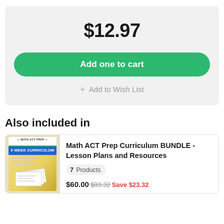$12.97
Add one to cart
+ Add to Wish List
Also included in
[Figure (illustration): Math ACT Prep 9 Week Curriculum book cover with papers]
Math ACT Prep Curriculum BUNDLE - Lesson Plans and Resources
7  Products
$60.00$83.32Save $23.32